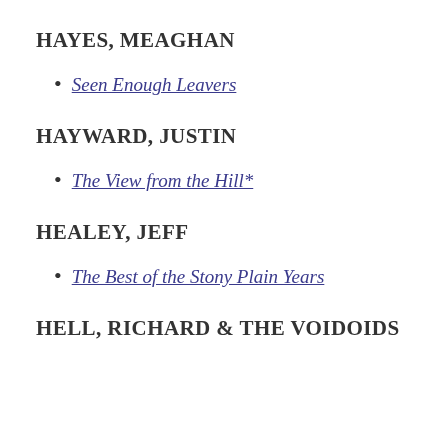HAYES, MEAGHAN
Seen Enough Leavers
HAYWARD, JUSTIN
The View from the Hill*
HEALEY, JEFF
The Best of the Stony Plain Years
HELL, RICHARD & THE VOIDOIDS